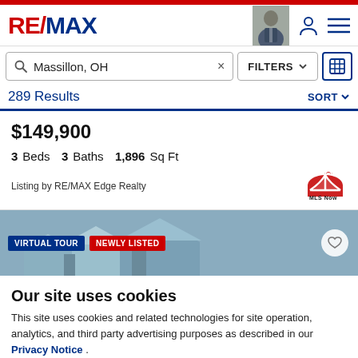RE/MAX
Massillon, OH × FILTERS SORT
289 Results
$149,900
3 Beds  3 Baths  1,896 Sq Ft
Listing by RE/MAX Edge Realty
[Figure (photo): Property exterior photo strip with VIRTUAL TOUR and NEWLY LISTED badges]
Our site uses cookies
This site uses cookies and related technologies for site operation, analytics, and third party advertising purposes as described in our Privacy Notice .
ACCEPT